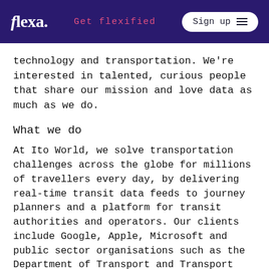flexa. | Get flexified | Sign up
technology and transportation. We're interested in talented, curious people that share our mission and love data as much as we do.
What we do
At Ito World, we solve transportation challenges across the globe for millions of travellers every day, by delivering real-time transit data feeds to journey planners and a platform for transit authorities and operators. Our clients include Google, Apple, Microsoft and public sector organisations such as the Department of Transport and Transport for West Midlands.
The Business Development Manager role